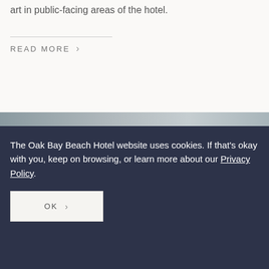art in public-facing areas of the hotel.
READ MORE >
[Figure (photo): Partial photograph of hotel interior or exterior, shown as a cropped strip]
The Oak Bay Beach Hotel website uses cookies. If that's okay with you, keep on browsing, or learn more about our Privacy Policy.
OK >